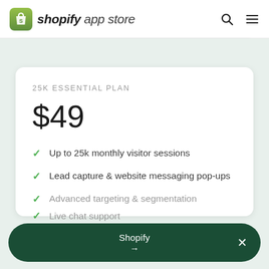shopify app store
25K ESSENTIAL PLAN
$49
Up to 25k monthly visitor sessions
Lead capture & website messaging pop-ups
Advanced targeting & segmentation
Live chat support
Shopify →